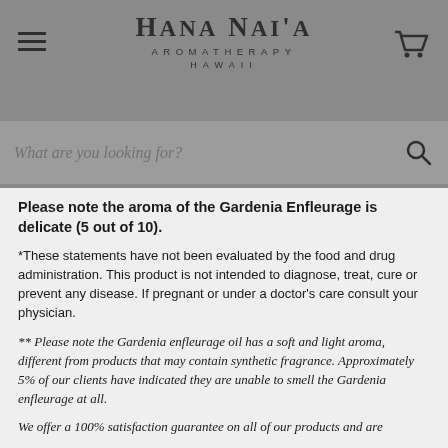Hana Nai'a Aromatherapy Hawaii
What are you looking for?
Please note the aroma of the Gardenia Enfleurage is delicate (5 out of 10).
*These statements have not been evaluated by the food and drug administration. This product is not intended to diagnose, treat, cure or prevent any disease. If pregnant or under a doctor's care consult your physician.
** Please note the Gardenia enfleurage oil has a soft and light aroma, different from products that may contain synthetic fragrance. Approximately 5% of our clients have indicated they are unable to smell the Gardenia enfleurage at all.
We offer a 100% satisfaction guarantee on all of our products and are